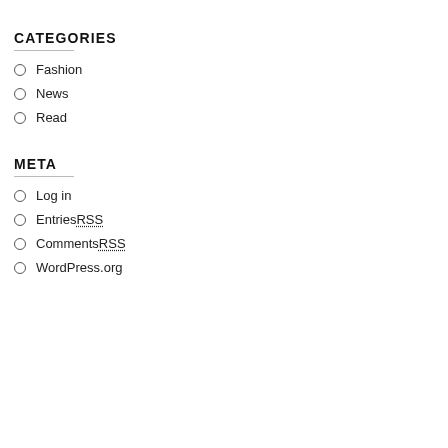CATEGORIES
Fashion
News
Read
META
Log in
Entries RSS
Comments RSS
WordPress.org